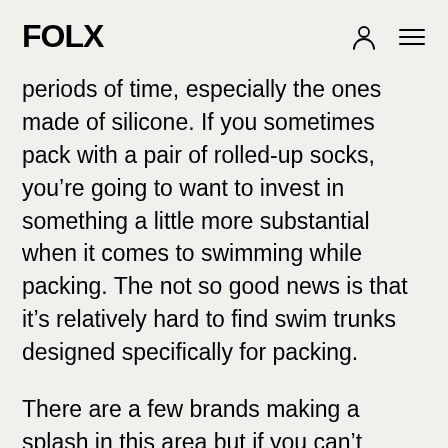FOLX
periods of time, especially the ones made of silicone. If you sometimes pack with a pair of rolled-up socks, you're going to want to invest in something a little more substantial when it comes to swimming while packing. The not so good news is that it's relatively hard to find swim trunks designed specifically for packing.
There are a few brands making a splash in this area but if you can't afford these options, you might want to try layering packing underwear or packing trunks